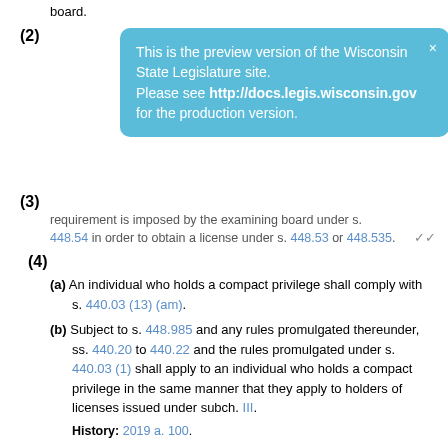board.
[Figure (other): Preview overlay popup: 'This is the preview version of the Wisconsin State Legislature site. Please see http://docs.legis.wisconsin.gov for the production version.']
requirement is imposed by the examining board under s. 448.54 in order to obtain a license under s. 448.53 or 448.535.
(4)
(a) An individual who holds a compact privilege shall comply with s. 440.03 (13) (am).
(b) Subject to s. 448.985 and any rules promulgated thereunder, ss. 440.20 to 440.22 and the rules promulgated under s. 440.03 (1) shall apply to an individual who holds a compact privilege in the same manner that they apply to holders of licenses issued under subch. III.
History: 2019 a. 100.
SUBCHAPTER XII
OCCUPATIONAL THERAPY LICENSURE COMPACT
NOTE: Subch. XII (title) was renumbered from subch. XI (title) by the legislative reference bureau under s. 13.92 (1) (bm) 2.